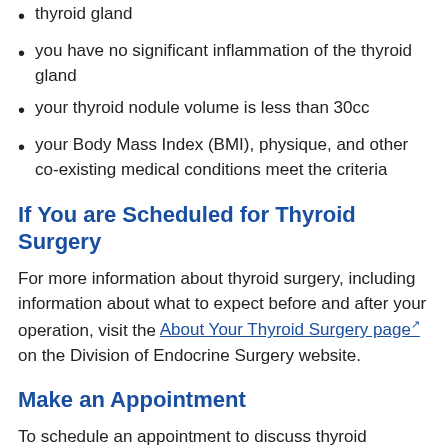thyroid gland
you have no significant inflammation of the thyroid gland
your thyroid nodule volume is less than 30cc
your Body Mass Index (BMI), physique, and other co-existing medical conditions meet the criteria
If You are Scheduled for Thyroid Surgery
For more information about thyroid surgery, including information about what to expect before and after your operation, visit the About Your Thyroid Surgery page on the Division of Endocrine Surgery website.
Make an Appointment
To schedule an appointment to discuss thyroid surgery, please call us at (734) 936-5818, or visit our online appointment request page. For more appointment